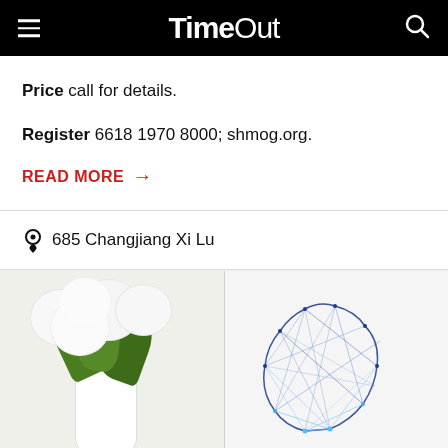TimeOut
Price call for details.
Register 6618 1970 8000; shmog.org.
READ MORE →
685 Changjiang Xi Lu
[Figure (photo): Two-panel image: left panel shows white hydrangea flowers in a white vase; right panel shows a string art sculpture of a cat/animal profile in blue thread on white background.]